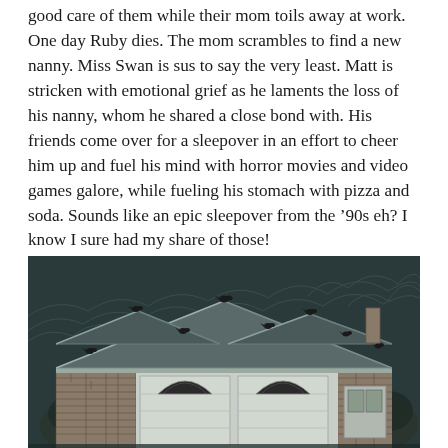good care of them while their mom toils away at work. One day Ruby dies. The mom scrambles to find a new nanny. Miss Swan is sus to say the very least. Matt is stricken with emotional grief as he laments the loss of his nanny, whom he shared a close bond with. His friends come over for a sleepover in an effort to cheer him up and fuel his mind with horror movies and video games galore, while fueling his stomach with pizza and soda. Sounds like an epic sleepover from the ‘90s eh? I know I sure had my share of those!
[Figure (illustration): Black and white illustration of a suburban house at night. The house has a large two-car garage with arched windows, brick exterior, and a pitched roof with multiple gables. Several black birds (crows/ravens) are perched along the roofline. The background shows a dark night sky with faint chalky scribble patterns suggesting trees or foliage.]